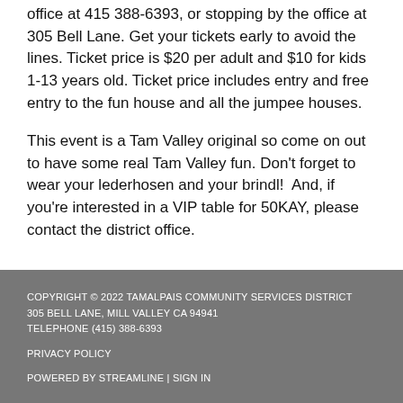office at 415 388-6393, or stopping by the office at 305 Bell Lane. Get your tickets early to avoid the lines. Ticket price is $20 per adult and $10 for kids 1-13 years old. Ticket price includes entry and free entry to the fun house and all the jumpee houses.
This event is a Tam Valley original so come on out to have some real Tam Valley fun. Don't forget to wear your lederhosen and your brindl! And, if you're interested in a VIP table for 50KAY, please contact the district office.
COPYRIGHT © 2022 TAMALPAIS COMMUNITY SERVICES DISTRICT
305 BELL LANE, MILL VALLEY CA 94941
TELEPHONE (415) 388-6393

PRIVACY POLICY

POWERED BY STREAMLINE | SIGN IN